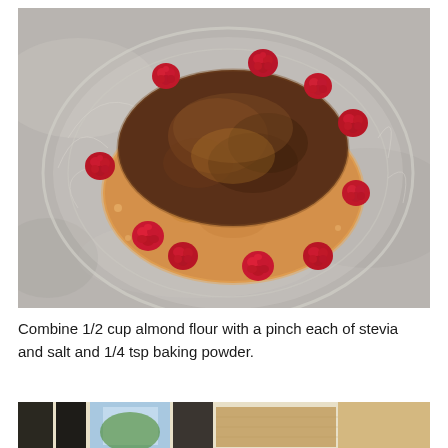[Figure (photo): Overhead photo of two golden-brown pancakes stacked on a clear glass plate, topped and surrounded by fresh red raspberries, shot from above on a marble surface.]
Combine 1/2 cup almond flour with a pinch each of stevia and salt and 1/4 tsp baking powder.
[Figure (photo): Partial view of a kitchen scene with bottles and a window visible, cropped at the bottom of the page.]